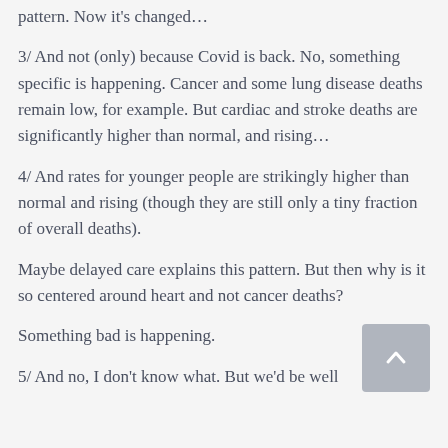pattern. Now it's changed…
3/ And not (only) because Covid is back. No, something specific is happening. Cancer and some lung disease deaths remain low, for example. But cardiac and stroke deaths are significantly higher than normal, and rising…
4/ And rates for younger people are strikingly higher than normal and rising (though they are still only a tiny fraction of overall deaths).
Maybe delayed care explains this pattern. But then why is it so centered around heart and not cancer deaths?
Something bad is happening.
5/ And no, I don't know what. But we'd be well